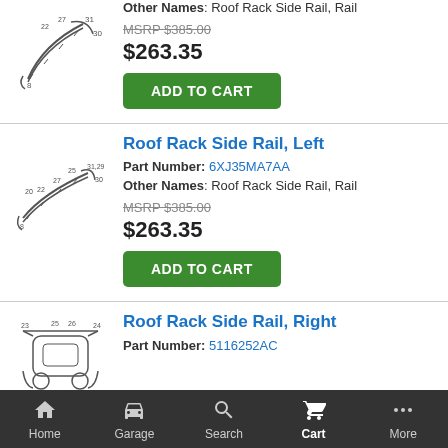[Figure (engineering-diagram): Roof rack side rail diagram (top, partial)]
Other Names: Roof Rack Side Rail, Rail
MSRP $385.00
$263.35
ADD TO CART
Roof Rack Side Rail, Left
Part Number: 6XJ35MA7AA
Other Names: Roof Rack Side Rail, Rail
MSRP $385.00
$263.35
ADD TO CART
Roof Rack Side Rail, Right
Part Number: 5116252AC
[Figure (engineering-diagram): Roof rack side rail right diagram (partial, bottom)]
Home  Garage  Search  Cart  More